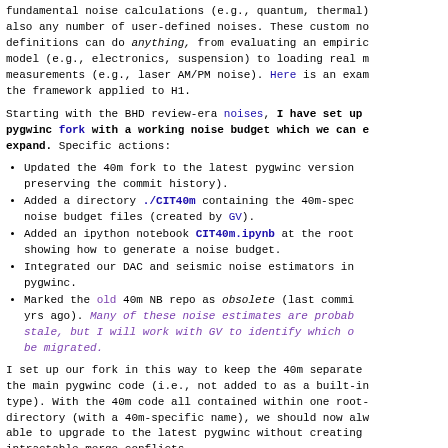fundamental noise calculations (e.g., quantum, thermal) also any number of user-defined noises. These custom no definitions can do anything, from evaluating an empiric model (e.g., electronics, suspension) to loading real m measurements (e.g., laser AM/PM noise). Here is an exam the framework applied to H1.
Starting with the BHD review-era noises, I have set up pygwinc fork with a working noise budget which we can e expand. Specific actions:
Updated the 40m fork to the latest pygwinc version preserving the commit history).
Added a directory ./CIT40m containing the 40m-spec noise budget files (created by GV).
Added an ipython notebook CIT40m.ipynb at the root showing how to generate a noise budget.
Integrated our DAC and seismic noise estimators in pygwinc.
Marked the old 40m NB repo as obsolete (last commi yrs ago). Many of these noise estimates are probab stale, but I will work with GV to identify which o be migrated.
I set up our fork in this way to keep the 40m separate the main pygwinc code (i.e., not added to as a built-in type). With the 40m code all contained within one root- directory (with a 40m-specific name), we should now alw able to upgrade to the latest pygwinc without creating intractable merge conflicts.